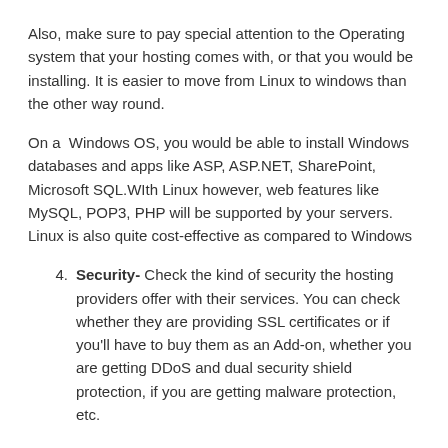Also, make sure to pay special attention to the Operating system that your hosting comes with, or that you would be installing. It is easier to move from Linux to windows than the other way round.
On a  Windows OS, you would be able to install Windows databases and apps like ASP, ASP.NET, SharePoint, Microsoft SQL.WIth Linux however, web features like MySQL, POP3, PHP will be supported by your servers. Linux is also quite cost-effective as compared to Windows
Security- Check the kind of security the hosting providers offer with their services. You can check whether they are providing SSL certificates or if you'll have to buy them as an Add-on, whether you are getting DDoS and dual security shield protection, if you are getting malware protection, etc.
The more secure your website is, the more traffic it will